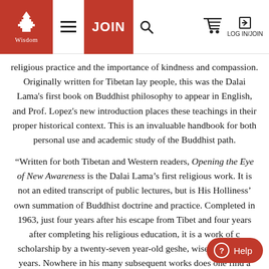Wisdom | JOIN | LOG IN/JOIN
religious practice and the importance of kindness and compassion. Originally written for Tibetan lay people, this was the Dalai Lama's first book on Buddhist philosophy to appear in English, and Prof. Lopez's new introduction places these teachings in their proper historical context. This is an invaluable handbook for both personal use and academic study of the Buddhist path.
“Written for both Tibetan and Western readers, Opening the Eye of New Awareness is the Dalai Lama’s first religious work. It is not an edited transcript of public lectures, but is His Holliness’ own summation of Buddhist doctrine and practice. Completed in 1963, just four years after his escape from Tibet and four years after completing his religious education, it is a work of c... scholarship by a twenty-seven year-old geshe, wise beyond his years. Nowhere in his many subsequent works does one find a more clear